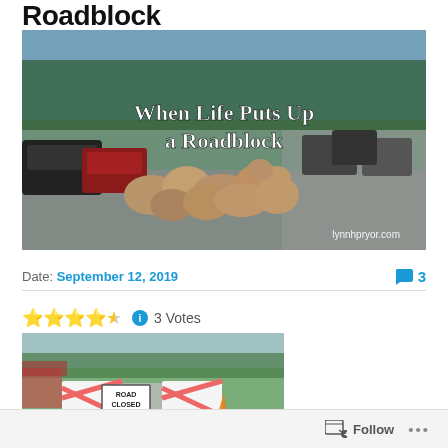Roadblock
[Figure (photo): Photo of a herd of bighorn sheep blocking a road with cars lined up behind them. Text overlay reads 'When Life Puts Up a Roadblock' and watermark 'lynnhpryor.com']
Date: September 12, 2019
3 (comments)
3 Votes (rating: 4 out of 5 stars)
[Figure (photo): Photo of a road closed barrier sign on a flooded or damaged suburban road]
Follow ...